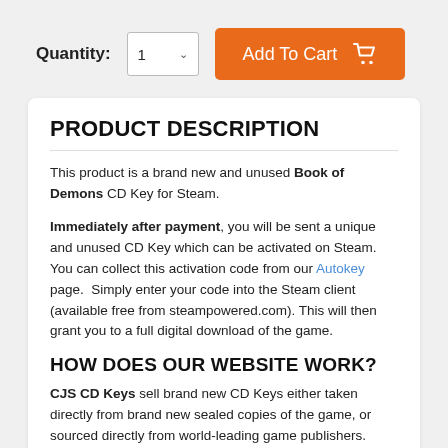Quantity:
Add To Cart
PRODUCT DESCRIPTION
This product is a brand new and unused Book of Demons CD Key for Steam.
Immediately after payment, you will be sent a unique and unused CD Key which can be activated on Steam. You can collect this activation code from our Autokey page.  Simply enter your code into the Steam client (available free from steampowered.com). This will then grant you to a full digital download of the game.
HOW DOES OUR WEBSITE WORK?
CJS CD Keys sell brand new CD Keys either taken directly from brand new sealed copies of the game, or sourced directly from world-leading game publishers.